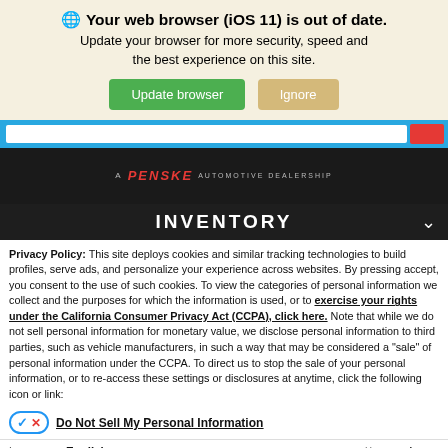Your web browser (iOS 11) is out of date. Update your browser for more security, speed and the best experience on this site.
Update browser | Ignore
[Figure (screenshot): Blue navigation bar with search input and red search button]
[Figure (logo): A PENSKE AUTOMOTIVE DEALERSHIP logo on dark background]
INVENTORY
Privacy Policy: This site deploys cookies and similar tracking technologies to build profiles, serve ads, and personalize your experience across websites. By pressing accept, you consent to the use of such cookies. To view the categories of personal information we collect and the purposes for which the information is used, or to exercise your rights under the California Consumer Privacy Act (CCPA), click here. Note that while we do not sell personal information for monetary value, we disclose personal information to third parties, such as vehicle manufacturers, in such a way that may be considered a "sale" of personal information under the CCPA. To direct us to stop the sale of your personal information, or to re-access these settings or disclosures at anytime, click the following icon or link:
Do Not Sell My Personal Information
Language: English | Powered by ComplyAuto
Accept and Continue → | California Privacy Disclosures | ×